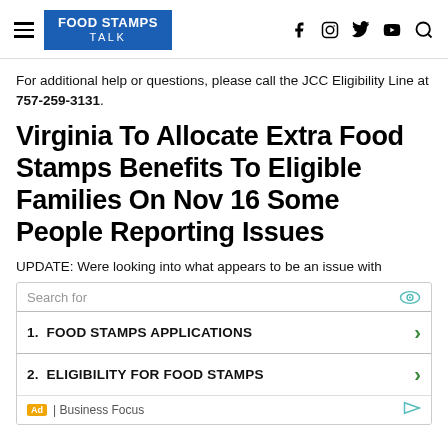FOOD STAMPS TALK
For additional help or questions, please call the JCC Eligibility Line at 757-259-3131.
Virginia To Allocate Extra Food Stamps Benefits To Eligible Families On Nov 16 Some People Reporting Issues
UPDATE: Were looking into what appears to be an issue with
[Figure (other): Advertisement widget with search for label, two list items: 1. FOOD STAMPS APPLICATIONS, 2. ELIGIBILITY FOR FOOD STAMPS, and Business Focus footer label]